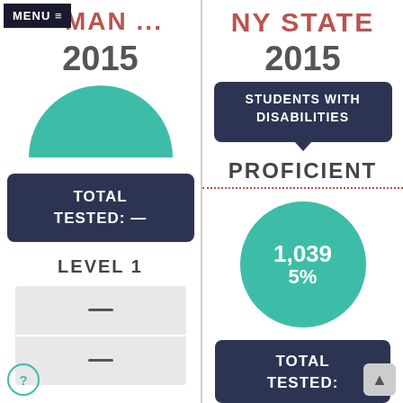MENU ≡
MAN ...
2015
[Figure (infographic): Teal semicircle graphic]
TOTAL TESTED: —
LEVEL 1
[Figure (infographic): Two gray bar rows with dashes]
NY STATE
2015
STUDENTS WITH DISABILITIES
PROFICIENT
[Figure (infographic): Teal circle with 1,039 and 5%]
1,039
5%
TOTAL TESTED: